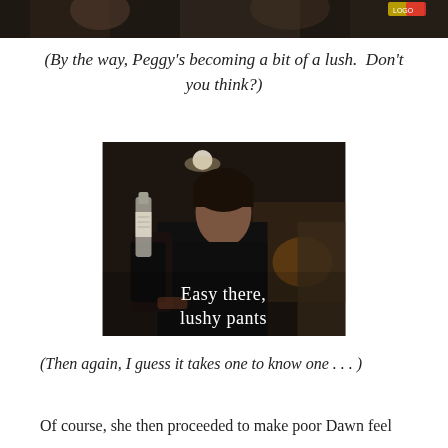[Figure (photo): Top portion of a dark photo showing people, partially cropped at the top of the page]
(By the way, Peggy's becoming a bit of a lush.  Don't you think?)
[Figure (photo): A young dark-haired man in a black shirt holding a bottle, in a dark bar setting. White text overlay reads 'Easy there, lushy pants']
(Then again, I guess it takes one to know one . . . )
Of course, she then proceeded to make poor Dawn feel